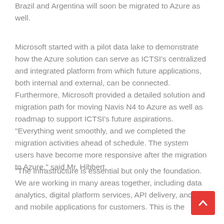Brazil and Argentina will soon be migrated to Azure as well.
Microsoft started with a pilot data lake to demonstrate how the Azure solution can serve as ICTSI's centralized and integrated platform from which future applications, both internal and external, can be connected. Furthermore, Microsoft provided a detailed solution and migration path for moving Navis N4 to Azure as well as roadmap to support ICTSI's future aspirations. "Everything went smoothly, and we completed the migration activities ahead of schedule. The system users have become more responsive after the migration to Azure," said Mr. Hibbert.
"The infrastructure is essential but only the foundation. We are working in many areas together, including data analytics, digital platform services, API delivery, and web and mobile applications for customers. This is the